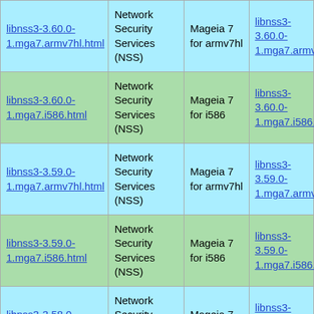| Package | Description | Distribution | Download |
| --- | --- | --- | --- |
| libnss3-3.60.0-1.mga7.armv7hl.html | Network Security Services (NSS) | Mageia 7 for armv7hl | libnss3-3.60.0-1.mga7.armv7hl.rpm |
| libnss3-3.60.0-1.mga7.i586.html | Network Security Services (NSS) | Mageia 7 for i586 | libnss3-3.60.0-1.mga7.i586.rpm |
| libnss3-3.59.0-1.mga7.armv7hl.html | Network Security Services (NSS) | Mageia 7 for armv7hl | libnss3-3.59.0-1.mga7.armv7hl.rpm |
| libnss3-3.59.0-1.mga7.i586.html | Network Security Services (NSS) | Mageia 7 for i586 | libnss3-3.59.0-1.mga7.i586.rpm |
| libnss3-3.58.0-1.mga7.armv7hl.html | Network Security Services (NSS) | Mageia 7 for armv7hl | libnss3-3.58.0-1.mga7.armv7hl.rpm |
| libnss3-3.58.0-1.mga7.i586.html | Network Security Services (NSS) | Mageia 7 for i586 | libnss3-3.58.0-1.mga7.i586.rpm |